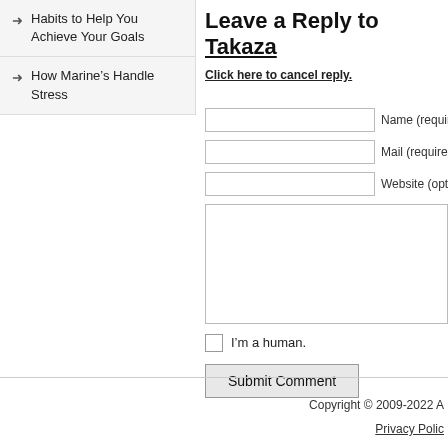Habits to Help You Achieve Your Goals
How Marine’s Handle Stress
Leave a Reply to Takaza
Click here to cancel reply.
Name (required)
Mail (required)
Website (optional)
I’m a human.
Submit Comment
Copyright © 2009-2022 A
Privacy Polic